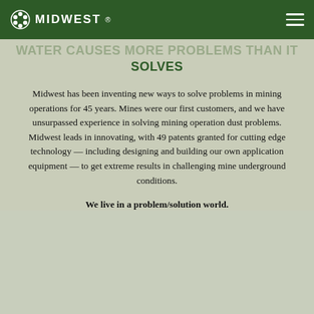MIDWEST (logo navigation bar)
WATER CAUSES MORE PROBLEMS THAN IT SOLVES
Midwest has been inventing new ways to solve problems in mining operations for 45 years. Mines were our first customers, and we have unsurpassed experience in solving mining operation dust problems. Midwest leads in innovating, with 49 patents granted for cutting edge technology — including designing and building our own application equipment — to get extreme results in challenging mine underground conditions.
We live in a problem/solution world.